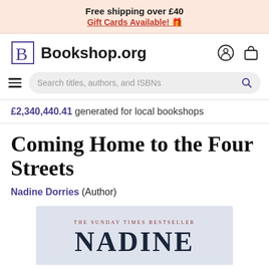Free shipping over £40
Gift Cards Available! 🎁
Bookshop.org
Search titles, authors, and ISBNs
£2,340,440.41 generated for local bookshops
Coming Home to the Four Streets
Nadine Dorries (Author)
[Figure (photo): Partial book cover showing 'THE SUNDAY TIMES BESTSELLER' and large text 'NADINE']